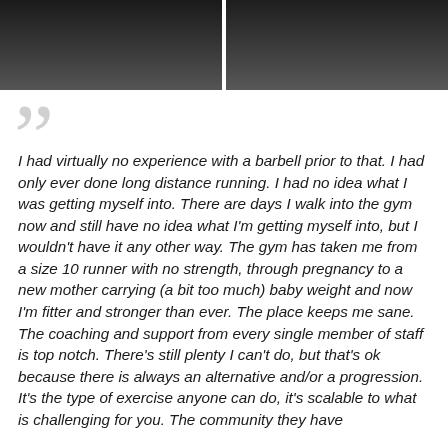[Figure (photo): Two side-by-side dark photos showing lower body/legs of a person, cropped at the top of the page]
I had virtually no experience with a barbell prior to that. I had only ever done long distance running. I had no idea what I was getting myself into. There are days I walk into the gym now and still have no idea what I'm getting myself into, but I wouldn't have it any other way. The gym has taken me from a size 10 runner with no strength, through pregnancy to a new mother carrying (a bit too much) baby weight and now I'm fitter and stronger than ever. The place keeps me sane. The coaching and support from every single member of staff is top notch. There's still plenty I can't do, but that's ok because there is always an alternative and/or a progression. It's the type of exercise anyone can do, it's scalable to what is challenging for you. The community they have